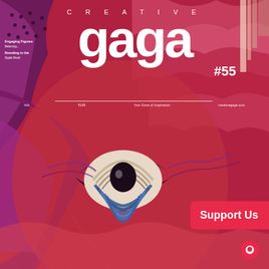[Figure (illustration): Magazine cover of Creative Gaga issue #55. Colorful intricate illustration of a stylized face/creature with swirling patterns in deep reds, purples, pinks, and blues. A large detailed eye is visible in the center. The background fills the entire page.]
CREATIVE gaga
#55
Engaging Figures Balancing...
Branding in the Digital World
Your Dose of Inspiration
Support Us